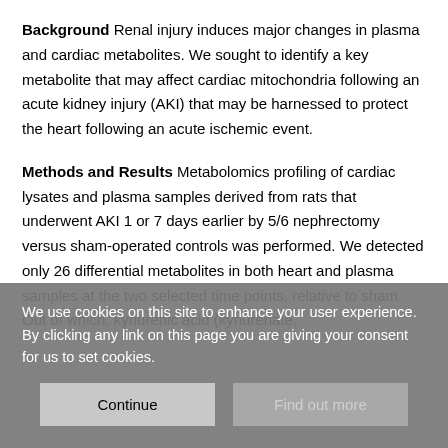Background Renal injury induces major changes in plasma and cardiac metabolites. We sought to identify a key metabolite that may affect cardiac mitochondria following an acute kidney injury (AKI) that may be harnessed to protect the heart following an acute ischemic event.
Methods and Results Metabolomics profiling of cardiac lysates and plasma samples derived from rats that underwent AKI 1 or 7 days earlier by 5/6 nephrectomy versus sham-operated controls was performed. We detected only 26 differential metabolites in both heart and plasma samples at the two selected time points, relative to sham. Out of which, kynurenic acid (kynurenate,
We use cookies on this site to enhance your user experience. By clicking any link on this page you are giving your consent for us to set cookies.